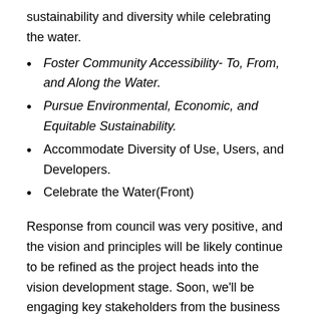sustainability and diversity while celebrating the water.
Foster Community Accessibility- To, From, and Along the Water.
Pursue Environmental, Economic, and Equitable Sustainability.
Accommodate Diversity of Use, Users, and Developers.
Celebrate the Water(Front)
Response from council was very positive, and the vision and principles will be likely continue to be refined as the project heads into the vision development stage. Soon, we'll be engaging key stakeholders from the business community, transportation, recreation and other subject area experts to provide additional feedback for upcoming